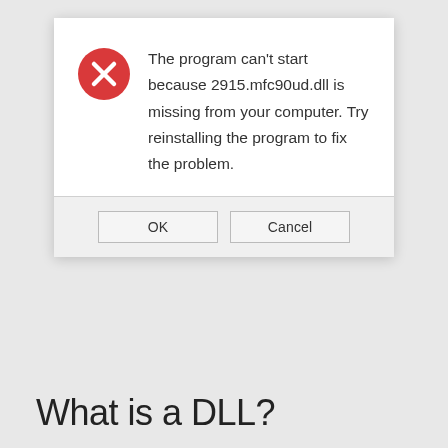[Figure (screenshot): Windows error dialog box showing a red circle with X icon and message: 'The program can't start because 2915.mfc90ud.dll is missing from your computer. Try reinstalling the program to fix the problem.' with OK and Cancel buttons.]
What is a DLL?